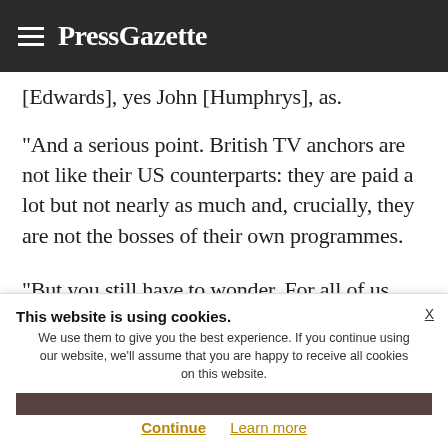PressGazette
[Edwards], yes John [Humphrys], as.
“And a serious point. British TV anchors are not like their US counterparts: they are paid a lot but not nearly as much and, crucially, they are not the bosses of their own programmes.
“But you still have to wonder. For all of us who call ourselves ‘presenters’, what does the
This website is using cookies. We use them to give you the best experience. If you continue using our website, we’ll assume that you are happy to receive all cookies on this website.
Continue   Learn more